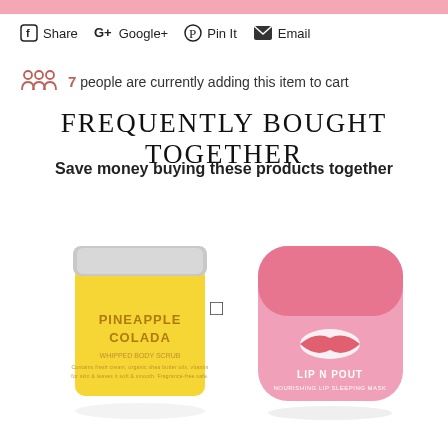Share  G+ Google+  Pin It  Email
7 people are currently adding this item to cart
FREQUENTLY BOUGHT TOGETHER
Save money buying these products together
[Figure (photo): Pineapple Colada body scrub in a yellow glass jar with silver lid]
[Figure (photo): Pink rounded square lip product container labeled LIP N POUT]